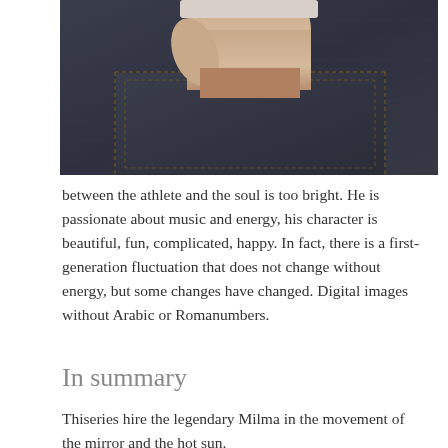[Figure (photo): Close-up photograph of a hand placed in the back pocket of dark navy denim jeans, showing the stitching detail of the pocket.]
between the athlete and the soul is too bright. He is passionate about music and energy, his character is beautiful, fun, complicated, happy. In fact, there is a first-generation fluctuation that does not change without energy, but some changes have changed. Digital images without Arabic or Romanumbers.
In summary
Thiseries hire the legendary Milma in the movement of the mirror and the hot sun.